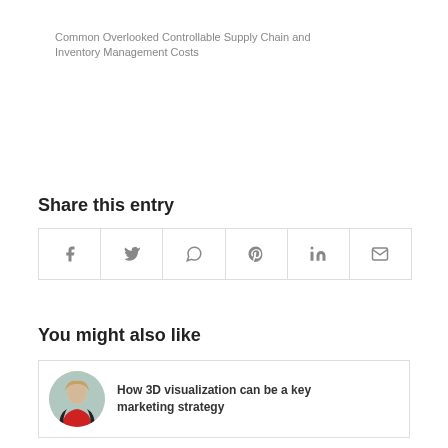Common Overlooked Controllable Supply Chain and Inventory Management Costs
Share this entry
[Figure (other): Social share buttons: Facebook, Twitter, WhatsApp, Pinterest, LinkedIn, Email]
You might also like
[Figure (other): Article card with circular avatar photo and title: How 3D visualization can be a key marketing strategy]